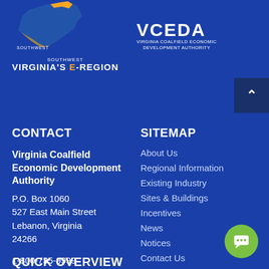[Figure (logo): Southwest Virginia's e-REGION logo with Virginia state silhouette in blue and orange]
[Figure (logo): Virginia Coalfield Economic Development Authority (VCEDA) logo]
CONTACT
Virginia Coalfield Economic Development Authority
P.O. Box 1060
527 East Main Street
Lebanon, Virginia 24266
1-800-735-9999
mail@e-region.org
SITEMAP
About Us
Regional Information
Existing Industry
Sites & Buildings
Incentives
News
Notices
Contact Us
QUICK OVERVIEW